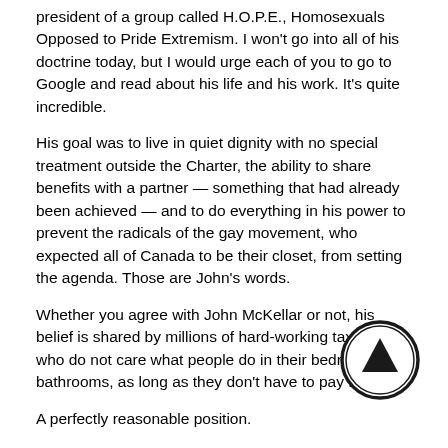president of a group called H.O.P.E., Homosexuals Opposed to Pride Extremism. I won't go into all of his doctrine today, but I would urge each of you to go to Google and read about his life and his work. It's quite incredible.
His goal was to live in quiet dignity with no special treatment outside the Charter, the ability to share benefits with a partner — something that had already been achieved — and to do everything in his power to prevent the radicals of the gay movement, who expected all of Canada to be their closet, from setting the agenda. Those are John's words.
Whether you agree with John McKellar or not, his belief is shared by millions of hard-working taxpayers who do not care what people do in their bedrooms and bathrooms, as long as they don't have to pay for it.
A perfectly reasonable position.
I'm speaking today for John, and my other gay friends who feel exactly the same way and who have lived in quiet dignity together, celebrating 50-year anniversaries without expecting or getting a single thing from government. By living in quiet dignity, they never had to face any kind of discrimination or uncomfortable feelings.